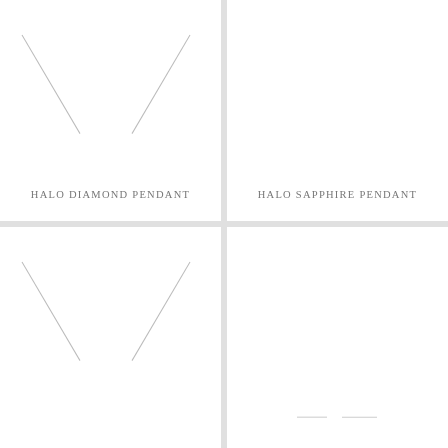[Figure (illustration): Product image placeholder for Halo Diamond Pendant with necklace chain lines (diagonal lines forming a V-necklace silhouette), white background]
HALO DIAMOND PENDANT
[Figure (illustration): Product image placeholder for Halo Sapphire Pendant, white background, empty]
HALO SAPPHIRE PENDANT
[Figure (illustration): Product image placeholder, lower left cell, with necklace chain lines (diagonal lines forming a V-necklace silhouette), white background]
[Figure (illustration): Product image placeholder, lower right cell, white background with faint horizontal lines at bottom]